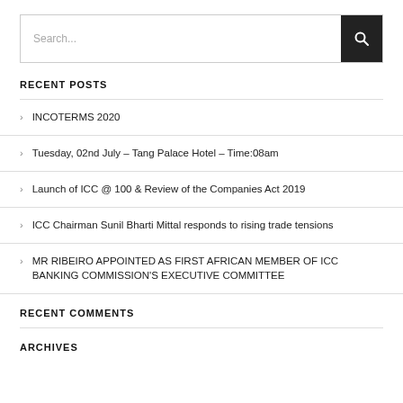RECENT POSTS
INCOTERMS 2020
Tuesday, 02nd July – Tang Palace Hotel – Time:08am
Launch of ICC @ 100 & Review of the Companies Act 2019
ICC Chairman Sunil Bharti Mittal responds to rising trade tensions
MR RIBEIRO APPOINTED AS FIRST AFRICAN MEMBER OF ICC BANKING COMMISSION'S EXECUTIVE COMMITTEE
RECENT COMMENTS
ARCHIVES